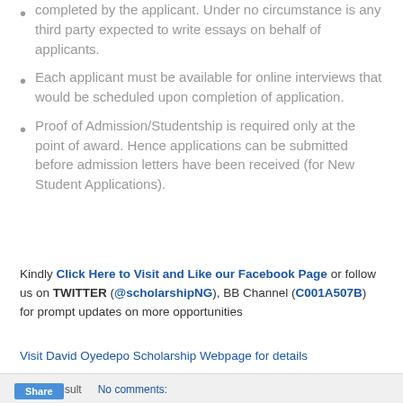completed by the applicant. Under no circumstance is any third party expected to write essays on behalf of applicants.
Each applicant must be available for online interviews that would be scheduled upon completion of application.
Proof of Admission/Studentship is required only at the point of award. Hence applications can be submitted before admission letters have been received (for New Student Applications).
Kindly Click Here to Visit and Like our Facebook Page or follow us on TWITTER (@scholarshipNG), BB Channel (C001A507B) for prompt updates on more opportunities
Visit David Oyedepo Scholarship Webpage for details
Olsey Consult   No comments: